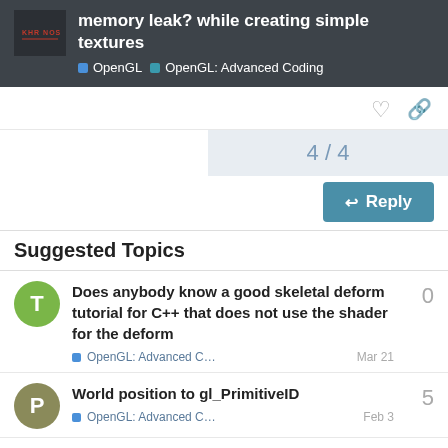memory leak? while creating simple textures | OpenGL | OpenGL: Advanced Coding
4 / 4
Reply
Suggested Topics
Does anybody know a good skeletal deform tutorial for C++ that does not use the shader for the deform — OpenGL: Advanced C… — Mar 21 — 0 replies
World position to gl_PrimitiveID — OpenGL: Advanced C… — Feb 3 — 5 replies
OpenGL isn't setting the divisor correctly. Shader transforms vertices — 2 replies